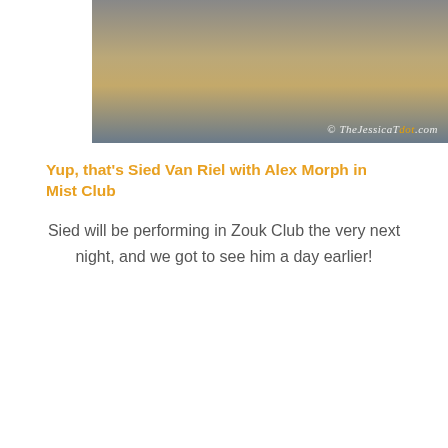[Figure (photo): Close-up photo of a hand with tattoos, partial view, with watermark reading '© TheJessicaTdot.com']
Yup, that's Sied Van Riel with Alex Morph in Mist Club
Sied will be performing in Zouk Club the very next night, and we got to see him a day earlier!
[Figure (photo): Photo of two people at a nightclub, one wearing a white trucker hat with 'chick' text and a red horseshoe logo, dark background with warm orange lighting]